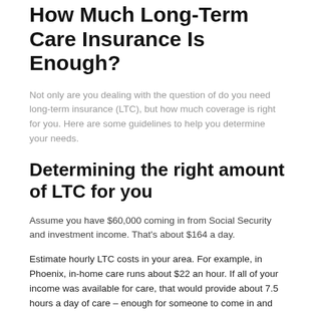How Much Long-Term Care Insurance Is Enough?
Not only are you dealing with the question of do you need long-term insurance (LTC), but how much coverage is right for you. Here are some guidelines to help you determine your needs.
Determining the right amount of LTC for you
Assume you have $60,000 coming in from Social Security and investment income. That's about $164 a day.
Estimate hourly LTC costs in your area. For example, in Phoenix, in-home care runs about $22 an hour. If all of your income was available for care, that would provide about 7.5 hours a day of care – enough for someone to come in and help with major tasks each day.
However, not all your income is available because you still